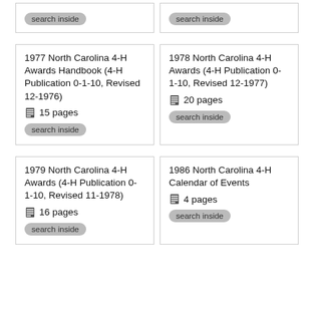search inside (top left partial card)
search inside (top right partial card)
1977 North Carolina 4-H Awards Handbook (4-H Publication 0-1-10, Revised 12-1976)
📋 15 pages
search inside
1978 North Carolina 4-H Awards (4-H Publication 0-1-10, Revised 12-1977)
📋 20 pages
search inside
1979 North Carolina 4-H Awards (4-H Publication 0-1-10, Revised 11-1978)
📋 16 pages
search inside
1986 North Carolina 4-H Calendar of Events
📋 4 pages
search inside